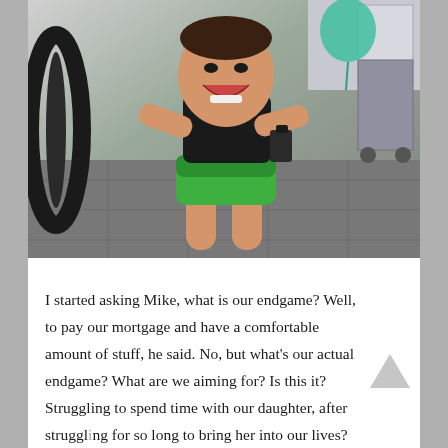[Figure (photo): A laughing young child in a store, wearing a black shirt and colorful green shorts, holding a dark object, with a bicycle tire visible on the left and shopping displays in the background.]
I started asking Mike, what is our endgame? Well, to pay our mortgage and have a comfortable amount of stuff, he said. No, but what's our actual endgame? What are we aiming for? Is this it? Struggling to spend time with our daughter, after struggling for so long to bring her into our lives? Watching as every-more desperate bystanders while her life flies by at mach five? Is this the only circumstance in which we can see ourselves being